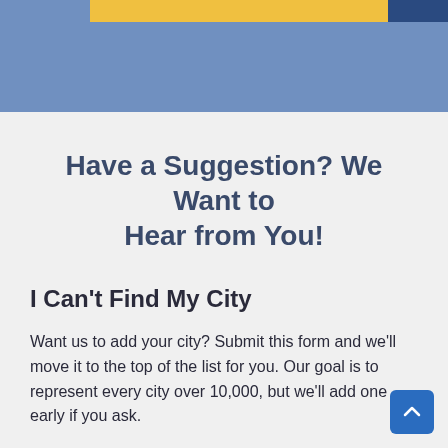Have a Suggestion? We Want to Hear from You!
I Can't Find My City
Want us to add your city?  Submit this form and we'll move it to the top of the list for you. Our goal is to represent every city over 10,000, but we'll add one early if you ask.